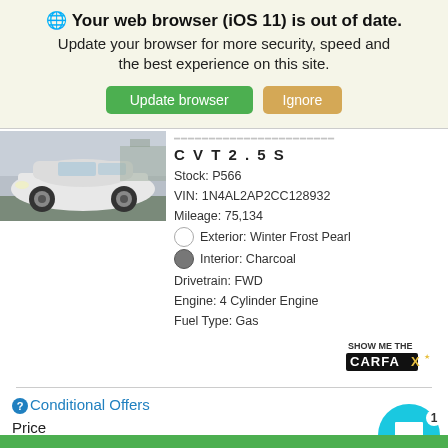🌐 Your web browser (iOS 11) is out of date. Update your browser for more security, speed and the best experience on this site.
Update browser | Ignore
[Figure (photo): White sedan car (Nissan Altima) parked in a lot, front 3/4 view]
CVT 2.5 S
Stock: P566
VIN: 1N4AL2AP2CC128932
Mileage: 75,134
Exterior: Winter Frost Pearl
Interior: Charcoal
Drivetrain: FWD
Engine: 4 Cylinder Engine
Fuel Type: Gas
[Figure (logo): SHOW ME THE CARFAX logo badge]
❓Conditional Offers
Price
CLICK HERE TO SEE